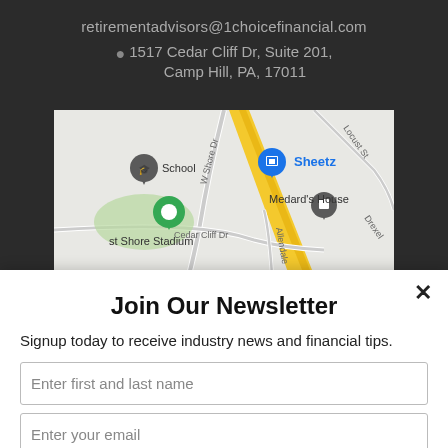retirementadvisors@1choicefinancial.com
1517 Cedar Cliff Dr, Suite 201, Camp Hill, PA, 17011
[Figure (map): Google Maps screenshot showing area around Cedar Cliff Dr, Camp Hill PA, with landmarks including Sheetz, School, Medard's House, St Shore Stadium, and street labels W Shore Dr, Locust St, Drexel, Allendale.]
Join Our Newsletter
Signup today to receive industry news and financial tips.
Enter first and last name
Enter your email